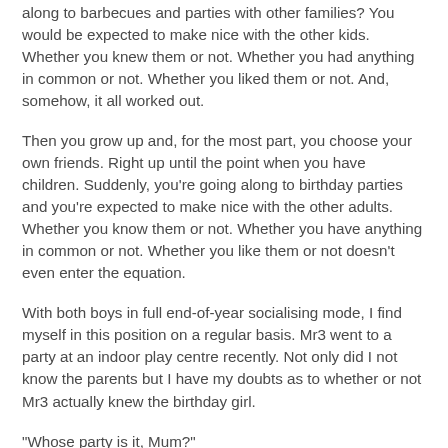Remember when you were a kid and your parents took you along to barbecues and parties with other families? You would be expected to make nice with the other kids. Whether you knew them or not. Whether you had anything in common or not. Whether you liked them or not. And, somehow, it all worked out.
Then you grow up and, for the most part, you choose your own friends. Right up until the point when you have children. Suddenly, you're going along to birthday parties and you're expected to make nice with the other adults. Whether you know them or not. Whether you have anything in common or not. Whether you like them or not doesn't even enter the equation.
With both boys in full end-of-year socialising mode, I find myself in this position on a regular basis. Mr3 went to a party at an indoor play centre recently. Not only did I not know the parents but I have my doubts as to whether or not Mr3 actually knew the birthday girl.
"Whose party is it, Mum?"